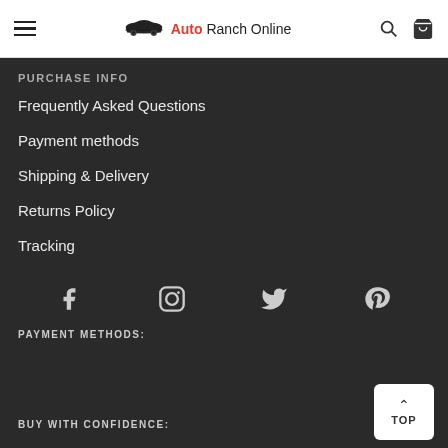Auto Ranch Online
PURCHASE INFO
Frequently Asked Questions
Payment methods
Shipping & Delivery
Returns Policy
Tracking
[Figure (infographic): Social media icons row: Facebook, Instagram, Twitter, Pinterest]
PAYMENT METHODS:
BUY WITH CONFIDENCE: